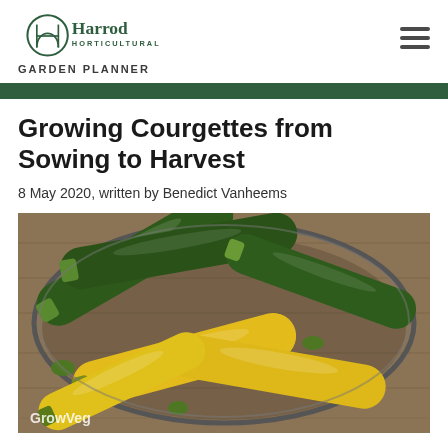Harrod Horticultural Garden Planner
Growing Courgettes from Sowing to Harvest
8 May 2020, written by Benedict Vanheems
[Figure (photo): A colander/wire basket filled with dark green and bright yellow courgettes/zucchini on a wooden surface. GrowVeg watermark in bottom-left corner.]